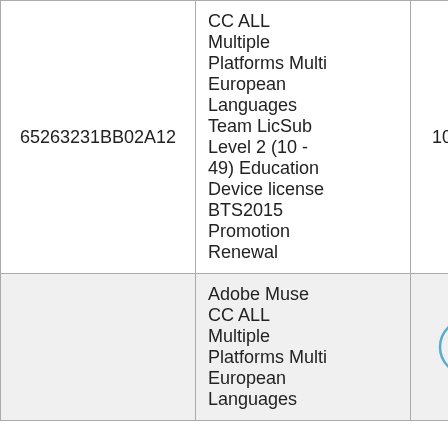| 65263231BB02A12 | CC ALL Multiple Platforms Multi European Languages Team LicSub Level 2 (10 - 49) Education Device license BTS2015 Promotion Renewal | 101,95 $ |
|  | Adobe Muse CC ALL Multiple Platforms Multi European Languages |  |